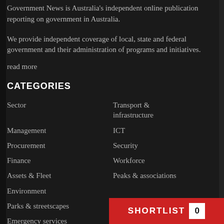Government News is Australia's independent online publication reporting on government in Australia.
We provide independent coverage of local, state and federal government and their administration of programs and initiatives.
read more
CATEGORIES
Sector
Transport & infrastructure
Management
ICT
Procurement
Security
Finance
Workforce
Assets & Fleet
Peaks & associations
Environment
Parks & streetscapes
Emergency services
SHORTLIST 0